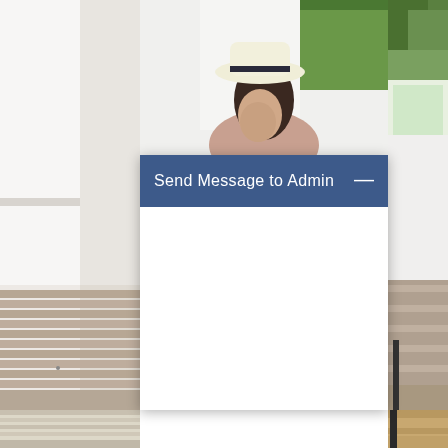[Figure (photo): Person wearing white hat looking down, with tropical green trees/plants in background, bright white light environment]
[Figure (photo): Left side: white wall with wooden deck/boardwalk below, architectural outdoor space]
[Figure (photo): Right side: outdoor area with wooden deck and architectural elements]
[Figure (screenshot): Modal dialog with blue header 'Send Message to Admin' with minimize button (—), white empty body area — a chat/message widget UI overlay]
[Figure (photo): Bottom left strip: sandy/light colored ground area]
[Figure (photo): Bottom right strip: wooden surface with furniture leg visible]